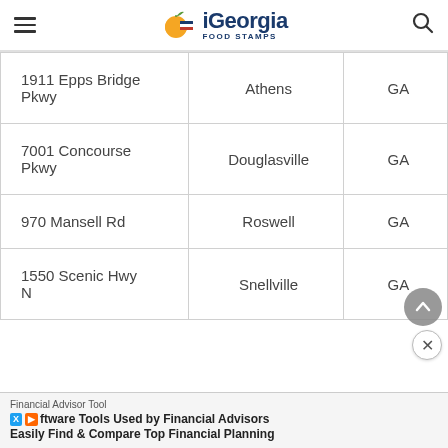iGeorgia Food Stamps
| Address | City | State |
| --- | --- | --- |
| 1911 Epps Bridge Pkwy | Athens | GA |
| 7001 Concourse Pkwy | Douglasville | GA |
| 970 Mansell Rd | Roswell | GA |
| 1550 Scenic Hwy N | Snellville | GA |
Financial Advisor Tool
Easily Find & Compare Top Financial Planning Software Tools Used by Financial Advisors